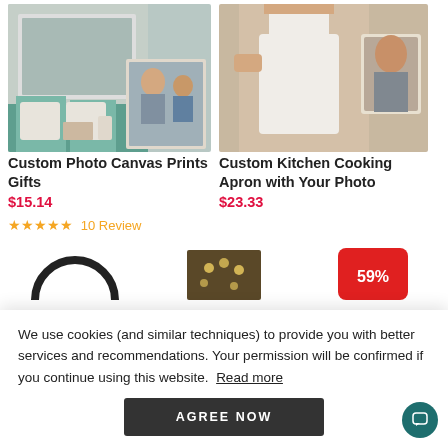[Figure (photo): Custom Photo Canvas Prints product image showing a canvas print on a wall with sofa, and inset photo of man and child cooking]
Custom Photo Canvas Prints Gifts
$15.14
★★★★★ 10 Review
[Figure (photo): Custom Kitchen Cooking Apron product image showing woman wearing apron and holding photo]
Custom Kitchen Cooking Apron with Your Photo
$23.33
[Figure (photo): Partial product images at bottom: arc/ring shape, thumbnail photo, red badge with 59%]
We use cookies (and similar techniques) to provide you with better services and recommendations. Your permission will be confirmed if you continue using this website.  Read more
AGREE NOW